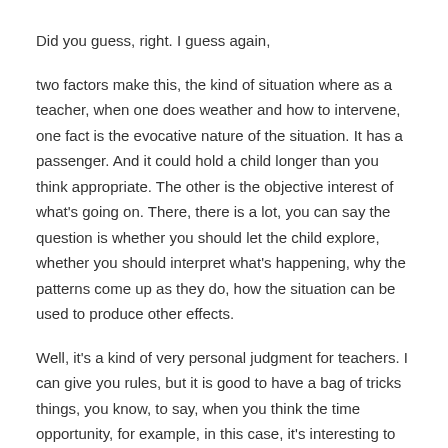Did you guess, right. I guess again,
two factors make this, the kind of situation where as a teacher, when one does weather and how to intervene, one fact is the evocative nature of the situation. It has a passenger. And it could hold a child longer than you think appropriate. The other is the objective interest of what’s going on. There, there is a lot, you can say the question is whether you should let the child explore, whether you should interpret what’s happening, why the patterns come up as they do, how the situation can be used to produce other effects.
Well, it’s a kind of very personal judgment for teachers. I can give you rules, but it is good to have a bag of tricks things, you know, to say, when you think the time opportunity, for example, in this case, it’s interesting to clear the screen and run through the same set of instructions again, this time with pen op.